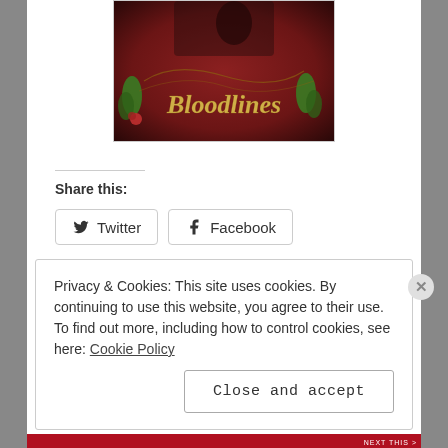[Figure (illustration): Book cover image for 'Bloodlines' showing a dark red/maroon decorative cover with the title 'Bloodlines' in golden italic script, ornamental flourishes, and green leaf decorations]
Share this:
Twitter
Facebook
Loading...
Privacy & Cookies: This site uses cookies. By continuing to use this website, you agree to their use. To find out more, including how to control cookies, see here: Cookie Policy
Close and accept